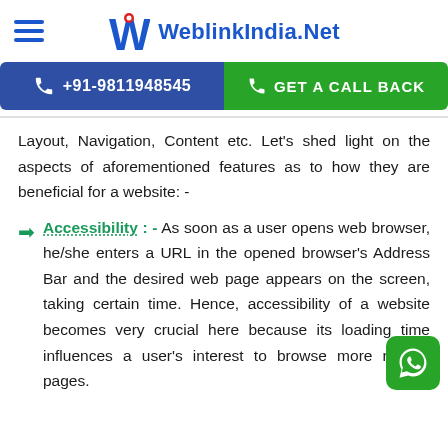WeblinkIndia.Net
+91-9811948545  GET A CALL BACK
Layout, Navigation, Content etc. Let's shed light on the aspects of aforementioned features as to how they are beneficial for a website: -
Accessibility : - As soon as a user opens web browser, he/she enters a URL in the opened browser's Address Bar and the desired web page appears on the screen, taking certain time. Hence, accessibility of a website becomes very crucial here because its loading time influences a user's interest to browse more related pages.